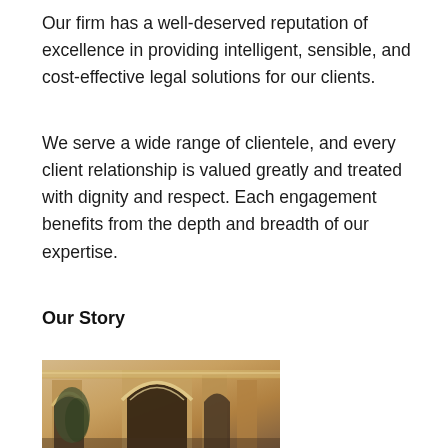Our firm has a well-deserved reputation of excellence in providing intelligent, sensible, and cost-effective legal solutions for our clients.
We serve a wide range of clientele, and every client relationship is valued greatly and treated with dignity and respect. Each engagement benefits from the depth and breadth of our expertise.
Our Story
[Figure (photo): Photograph of a classical building entrance with arched doorways and ornate architectural details, sepia/warm toned]